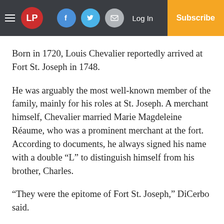LP | Log In | Subscribe
Born in 1720, Louis Chevalier reportedly arrived at Fort St. Joseph in 1748.
He was arguably the most well-known member of the family, mainly for his roles at St. Joseph. A merchant himself, Chevalier married Marie Magdeleine Réaume, who was a prominent merchant at the fort. According to documents, he always signed his name with a double “L” to distinguish himself from his brother, Charles.
“They were the epitome of Fort St. Joseph,” DiCerbo said.